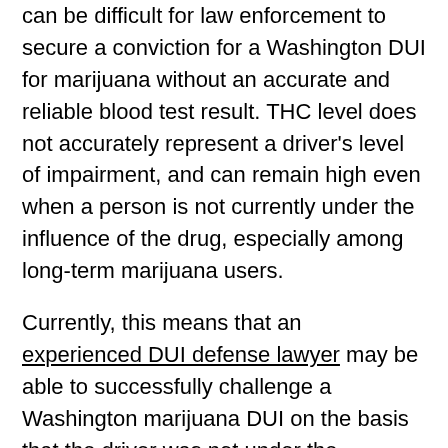can be difficult for law enforcement to secure a conviction for a Washington DUI for marijuana without an accurate and reliable blood test result. THC level does not accurately represent a driver's level of impairment, and can remain high even when a person is not currently under the influence of the drug, especially among long-term marijuana users.
Currently, this means that an experienced DUI defense lawyer may be able to successfully challenge a Washington marijuana DUI on the basis that the driver was not under the influence at the time of the arrest. Alternatively, an attorney experienced in DUI defense may be able to challenge the accuracy and reliability of the blood test result, even if you are above the legal limit for marijuana.